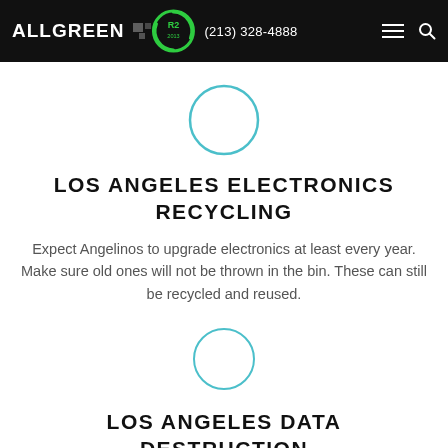ALL GREEN | R2 | (213) 328-4888
[Figure (illustration): Teal outlined circle icon, empty/placeholder]
LOS ANGELES ELECTRONICS RECYCLING
Expect Angelinos to upgrade electronics at least every year. Make sure old ones will not be thrown in the bin. These can still be recycled and reused.
[Figure (illustration): Teal outlined circle icon, empty/placeholder]
LOS ANGELES DATA DESTRUCTION